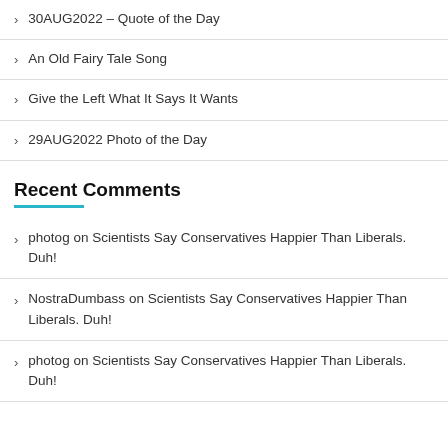30AUG2022 – Quote of the Day
An Old Fairy Tale Song
Give the Left What It Says It Wants
29AUG2022 Photo of the Day
Recent Comments
photog on Scientists Say Conservatives Happier Than Liberals. Duh!
NostraDumbass on Scientists Say Conservatives Happier Than Liberals. Duh!
photog on Scientists Say Conservatives Happier Than Liberals. Duh!